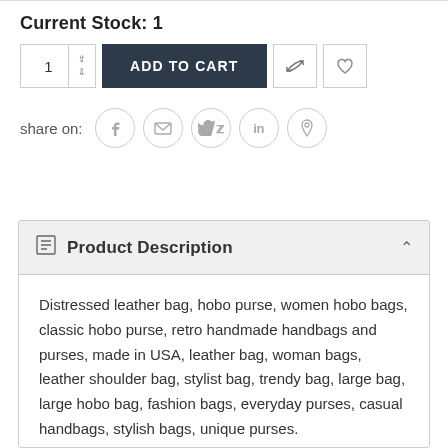Current Stock: 1
[Figure (screenshot): E-commerce add to cart UI row with quantity input (value 1) with up/down arrows, a dark navy 'ADD TO CART' button, a compare/transfer icon button, and a heart/wishlist icon button]
share on:
[Figure (infographic): Social share buttons row: Facebook (f), Email (envelope), Twitter (bird), LinkedIn (in), Pinterest (p) — each in a circle]
Product Description
Distressed leather bag, hobo purse, women hobo bags, classic hobo purse, retro handmade handbags and purses, made in USA, leather bag, woman bags, leather shoulder bag, stylist bag, trendy bag, large bag, large hobo bag, fashion bags, everyday purses, casual handbags, stylish bags, unique purses.